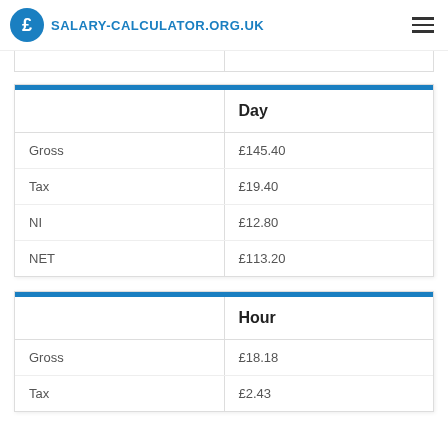SALARY-CALCULATOR.ORG.UK
|  | Day |
| --- | --- |
| Gross | £145.40 |
| Tax | £19.40 |
| NI | £12.80 |
| NET | £113.20 |
|  | Hour |
| --- | --- |
| Gross | £18.18 |
| Tax | £2.43 |